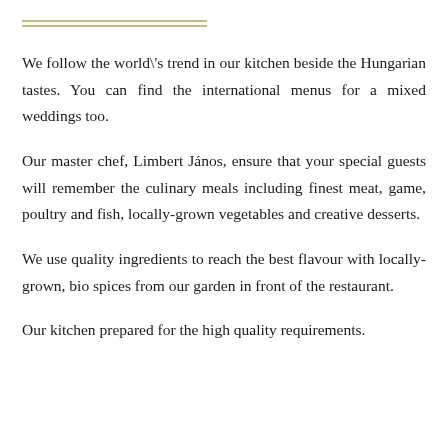[Figure (other): Two horizontal double-line gold/tan decorative rules at the top of the page]
We follow the world's trend in our kitchen beside the Hungarian tastes. You can find the international menus for a mixed weddings too.
Our master chef, Limbert János, ensure that your special guests will remember the culinary meals including finest meat, game, poultry and fish, locally-grown vegetables and creative desserts.
We use quality ingredients to reach the best flavour with locally-grown, bio spices from our garden in front of the restaurant.
Our kitchen prepared for the high quality requirements.